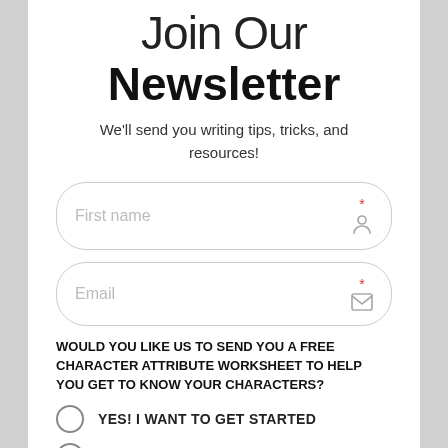Join Our Newsletter
We'll send you writing tips, tricks, and resources!
[Figure (other): Form field: First name input with required star and person icon]
[Figure (other): Form field: Email input with required star and envelope icon]
WOULD YOU LIKE US TO SEND YOU A FREE CHARACTER ATTRIBUTE WORKSHEET TO HELP YOU GET TO KNOW YOUR CHARACTERS?
YES! I WANT TO GET STARTED
NO THANKS, I DON'T NEED THIS
Submit